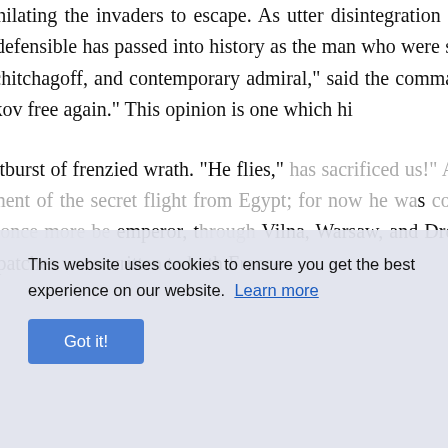conception of the losses suffered by the annihilating the invaders to escape. As utter disintegration of the "grand army," the crucial moment is utterly indefensible has passed into history as the man who were still to drench the continent of Europe on Admiral Tchitchagoff, and contemporary admiral," said the commander-in-chief Napoleon, "the plain gentleman of Pskov free again." This opinion is one which hi When the soldiers heard that their Emperor outburst of frenzied wrath. "He flies," has sacrificed us!" As has been remarkable unjust. Napoleon's abandonment of the secret flight from Egypt; for now he was court of final appeal. Moreover, it was general should once more be emperor, through Vilna, Warsaw, and Dresden. Pradt was carefully instructed how to treat despatches were written to both France
This website uses cookies to ensure you get the best experience on our website. Learn more